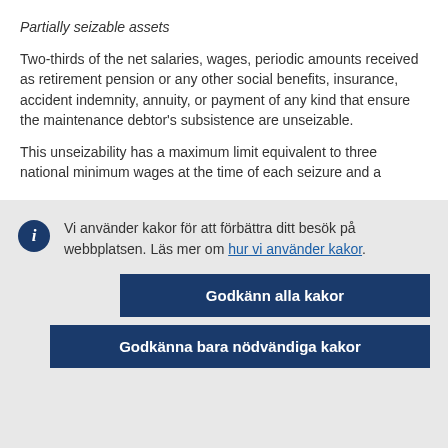Partially seizable assets
Two-thirds of the net salaries, wages, periodic amounts received as retirement pension or any other social benefits, insurance, accident indemnity, annuity, or payment of any kind that ensure the maintenance debtor's subsistence are unseizable.
This unseizability has a maximum limit equivalent to three national minimum wages at the time of each seizure and a
Vi använder kakor för att förbättra ditt besök på webbplatsen. Läs mer om hur vi använder kakor.
Godkänn alla kakor
Godkänna bara nödvändiga kakor